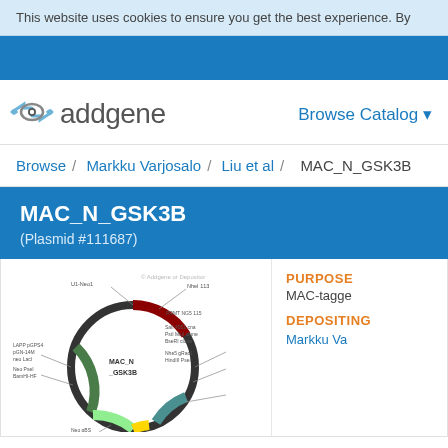This website uses cookies to ensure you get the best experience. By
[Figure (logo): Addgene logo with stylized eye icon and text 'addgene']
Browse Catalog ▼
Browse / Markku Varjosalo / Liu et al / MAC_N_GSK3B
MAC_N_GSK3B
(Plasmid #111687)
[Figure (engineering-diagram): Circular plasmid map diagram for MAC_N_GSK3B showing various annotated regions, restriction sites, and gene features in multiple colors]
PURPOSE
MAC-tagge
DEPOSITING
Markku Va